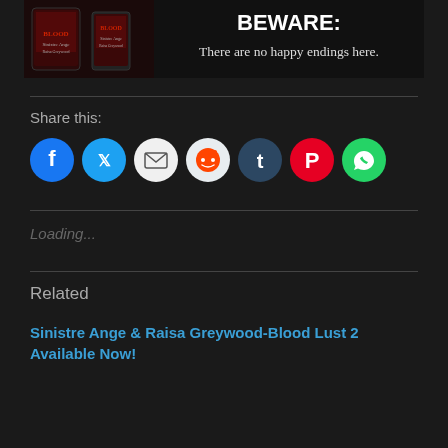[Figure (photo): Dark promotional banner for a book. Left side shows two e-reader/tablet images of a dark book cover. Right side has bold white text: 'BEWARE: There are no happy endings here.']
Share this:
[Figure (infographic): Row of social media share icons: Facebook (blue), Twitter (cyan), Email (white/grey), Reddit (light grey), Tumblr (dark blue), Pinterest (red), WhatsApp (green)]
Loading...
Related
Sinistre Ange & Raisa Greywood-Blood Lust 2 Available Now!